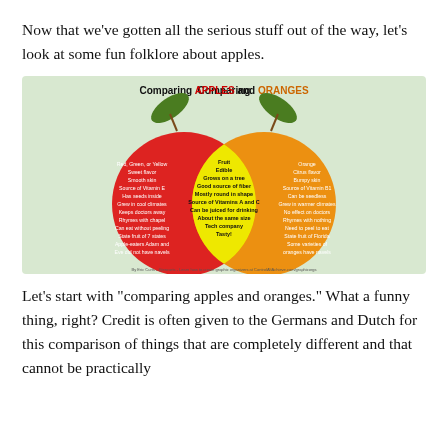Now that we've gotten all the serious stuff out of the way, let's look at some fun folklore about apples.
[Figure (infographic): Venn diagram comparing apples and oranges. Left red circle (Apple): Red, Green, or Yellow; Sweet flavor; Smooth skin; Source of Vitamin E; Has seeds inside; Grew in cool climates; Keeps doctors away; Rhymes with chapel; Can eat without peeling; State fruit of 7 states; Apple-eaters Adam and Eve did not have navels. Center yellow overlap: Fruit; Edible; Grows on a tree; Good source of fiber; Mostly round in shape; Source of Vitamins A and C; Can be juiced for drinking; About the same size; Tech company; Tasty! Right orange circle (Orange): Orange; Citrus flavor; Bumpy skin; Source of Vitamin B1; Can be seedless; Grew in warmer climates; No effect on doctors; Rhymes with nothing; Need to peel to eat; State fruit of Florida; Some varieties of oranges have navels. Title: Comparing APPLES and ORANGES. Credit: By Eric Curts - @encurts - Learn how to create graphic organizers at ControlAltAchieve.com/graphicorgs]
Let’s start with “comparing apples and oranges.” What a funny thing, right? Credit is often given to the Germans and Dutch for this comparison of things that are completely different and that cannot be practically